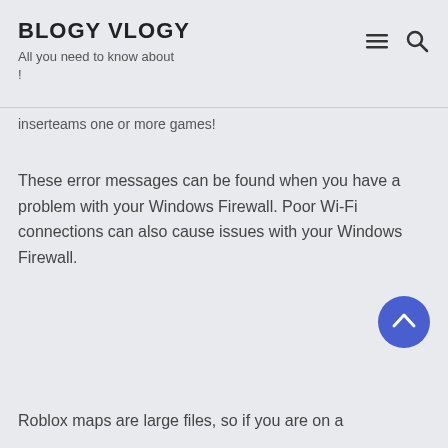BLOGY VLOGY
All you need to know about !
inserteams one or more games!
These error messages can be found when you have a problem with your Windows Firewall. Poor Wi-Fi connections can also cause issues with your Windows Firewall.
Roblox maps are large files, so if you are on a